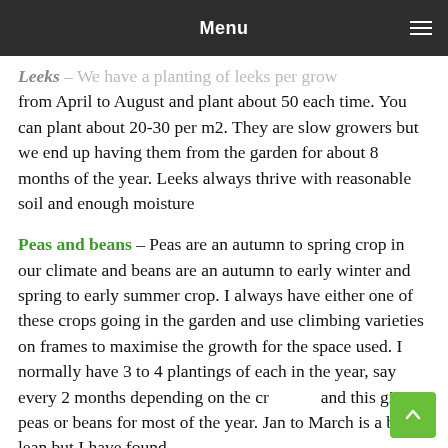Menu
Leeks – We have a planting of leeks per grow from April to August and plant about 50 each time. You can plant about 20-30 per m2. They are slow growers but we end up having them from the garden for about 8 months of the year. Leeks always thrive with reasonable soil and enough moisture
Peas and beans – Peas are an autumn to spring crop in our climate and beans are an autumn to early winter and spring to early summer crop. I always have either one of these crops going in the garden and use climbing varieties on frames to maximise the growth for the space used. I normally have 3 to 4 plantings of each in the year, say every 2 months depending on the cr and this gives peas or beans for most of the year. Jan to March is a bit lean but I have found